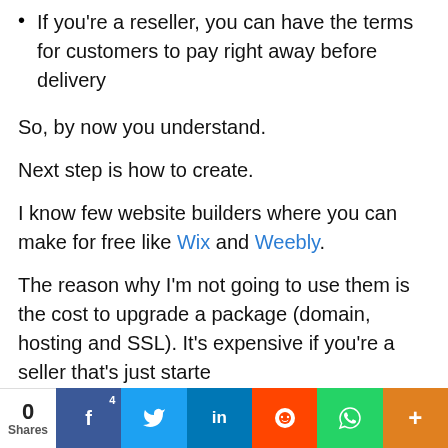If you're a reseller, you can have the terms for customers to pay right away before delivery
So, by now you understand.
Next step is how to create.
I know few website builders where you can make for free like Wix and Weebly.
The reason why I'm not going to use them is the cost to upgrade a package (domain, hosting and SSL). It's expensive if you're a seller that's just starte
0 Shares | 4 Facebook | Twitter | LinkedIn | Reddit | WhatsApp | More